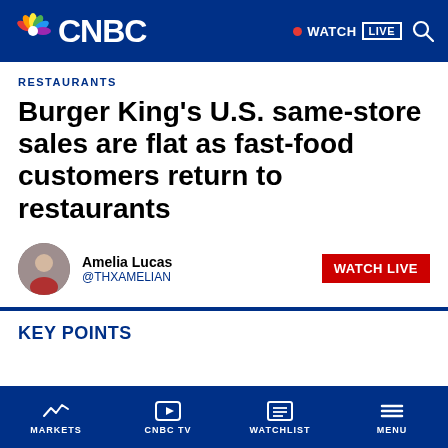CNBC — WATCH LIVE
RESTAURANTS
Burger King's U.S. same-store sales are flat as fast-food customers return to restaurants
Amelia Lucas @THXAMELIAN
KEY POINTS
MARKETS  CNBC TV  WATCHLIST  MENU